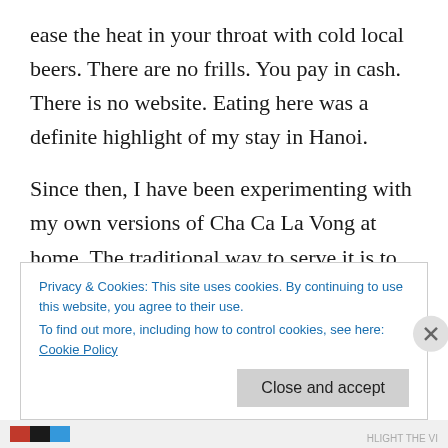ease the heat in your throat with cold local beers. There are no frills. You pay in cash. There is no website. Eating here was a definite highlight of my stay in Hanoi.
Since then, I have been experimenting with my own versions of Cha Ca La Vong at home. The traditional way to serve it is to have individual bowls of fresh herbs, peanuts and a plate of rice noodles on the table that guests help themselves too, before topping with the hot stir-fried fish. As it's a dish that needs to be eaten straight out of the wok, immediately, I find that if you're making it
Privacy & Cookies: This site uses cookies. By continuing to use this website, you agree to their use.
To find out more, including how to control cookies, see here: Cookie Policy
Close and accept